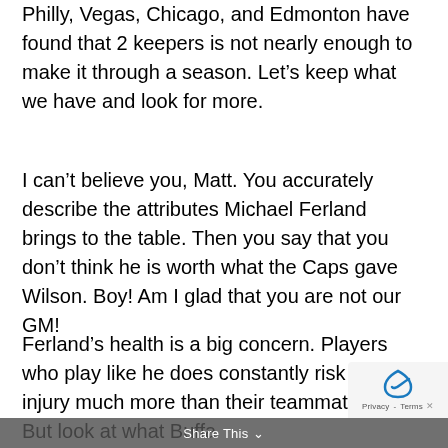Philly, Vegas, Chicago, and Edmonton have found that 2 keepers is not nearly enough to make it through a season. Let's keep what we have and look for more.
I can't believe you, Matt. You accurately describe the attributes Michael Ferland brings to the table. Then you say that you don't think he is worth what the Caps gave Wilson. Boy! Am I glad that you are not our GM!
Ferland's health is a big concern. Players who play like he does constantly risk grave injury much more than their teammates do. But look at what Buffa… just gave Skinny! He has at least 4…